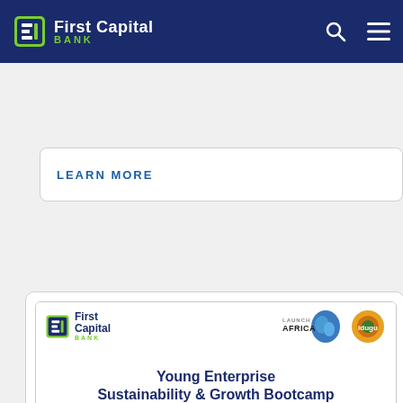First Capital Bank
LEARN MORE
[Figure (photo): First Capital Bank promotional card for Young Enterprise Sustainability & Growth Bootcamp 2018, featuring partnership logos (Launch Africa and Idugu), event title, and a photo grid of participants in discussion sessions.]